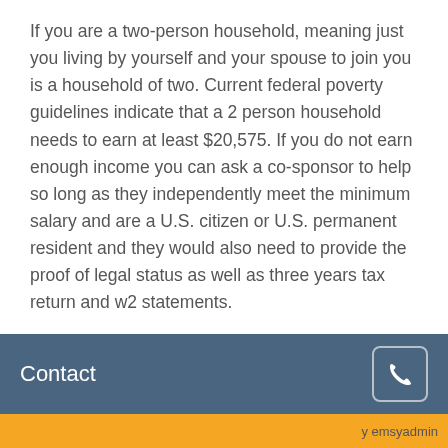If you are a two-person household, meaning just you living by yourself and your spouse to join you is a household of two. Current federal poverty guidelines indicate that a 2 person household needs to earn at least $20,575. If you do not earn enough income you can ask a co-sponsor to help so long as they independently meet the minimum salary and are a U.S. citizen or U.S. permanent resident and they would also need to provide the proof of legal status as well as three years tax return and w2 statements.

Our firm has helped reunite hundreds of long-distance international couples. For questions about marriage visas feel free to contact us
Contact
y emsyadmin